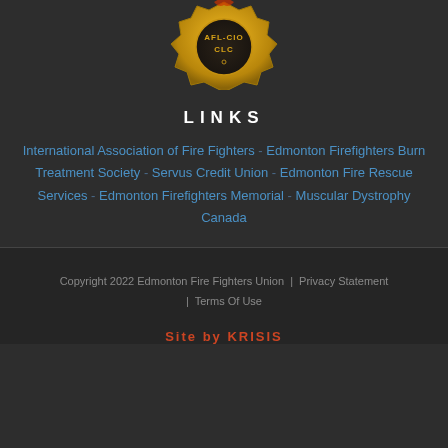[Figure (logo): IAFF AFL-CIO CLC firefighters union badge/emblem, gold colored, partially visible at top of page]
LINKS
International Association of Fire Fighters - Edmonton Firefighters Burn Treatment Society - Servus Credit Union - Edmonton Fire Rescue Services - Edmonton Firefighters Memorial - Muscular Dystrophy Canada
Copyright 2022 Edmonton Fire Fighters Union | Privacy Statement | Terms Of Use
Site by KRISIS